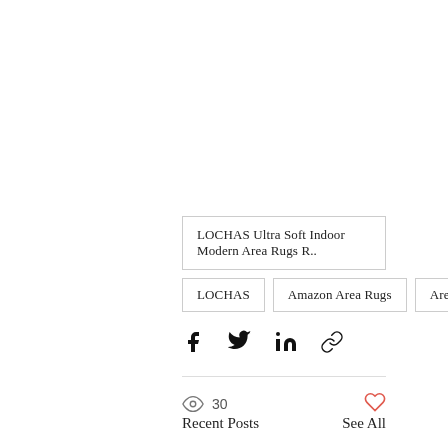LOCHAS Ultra Soft Indoor Modern Area Rugs R..
LOCHAS
Amazon Area Rugs
Area Rug
[Figure (infographic): Share icons: Facebook, Twitter, LinkedIn, Link]
30
Recent Posts
See All